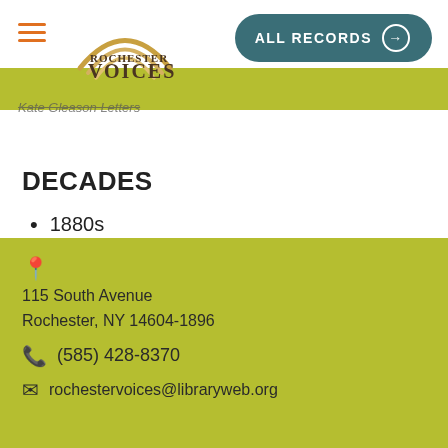[Figure (logo): Rochester Voices logo with rainbow arc above text]
Kate Gleason Letters
DECADES
1880s
115 South Avenue
Rochester, NY 14604-1896
(585) 428-8370
rochestervoices@libraryweb.org